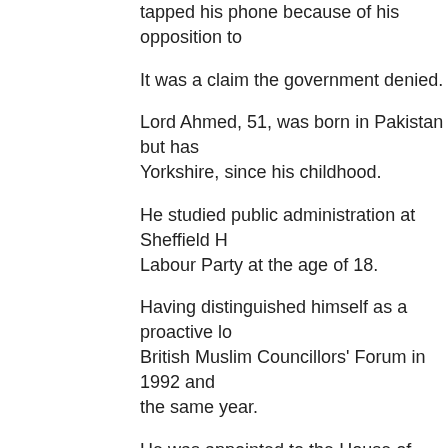tapped his phone because of his opposition to…
It was a claim the government denied.
Lord Ahmed, 51, was born in Pakistan but has… Yorkshire, since his childhood.
He studied public administration at Sheffield H… Labour Party at the age of 18.
Having distinguished himself as a proactive lo… British Muslim Councillors' Forum in 1992 and… the same year.
He was appointed to the House of Lords in 19… after several years as chairman of the South Y…
The married father-of-three has operated as a… career as a property developer.
'Sad loser'
He helps with various charitable causes and is… organisations.
He is president of South Yorkshire Victim Supp… Heart Foundation.
In June 2008 he denied rumours that had bee… several weeks that he was about to defect to…